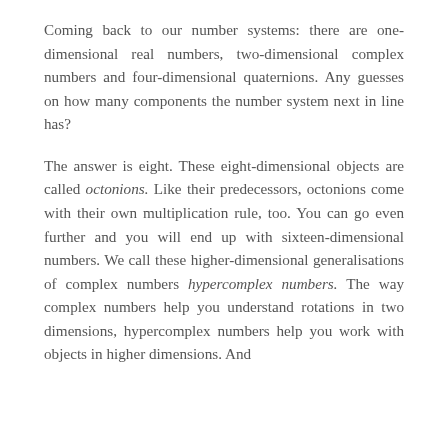Coming back to our number systems: there are one-dimensional real numbers, two-dimensional complex numbers and four-dimensional quaternions. Any guesses on how many components the number system next in line has?
The answer is eight. These eight-dimensional objects are called octonions. Like their predecessors, octonions come with their own multiplication rule, too. You can go even further and you will end up with sixteen-dimensional numbers. We call these higher-dimensional generalisations of complex numbers hypercomplex numbers. The way complex numbers help you understand rotations in two dimensions, hypercomplex numbers help you work with objects in higher dimensions. And